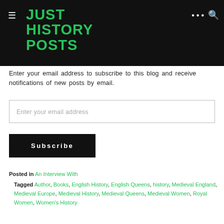JUST HISTORY POSTS
Enter your email address to subscribe to this blog and receive notifications of new posts by email.
Enter your email address
Subscribe
Posted in An Interview With
Tagged Author, Books, English History, English Queens, history, Medieval England, Medieval Europe, Medieval History, Medieval Queens, Medieval Women, Royal Women, Women's History